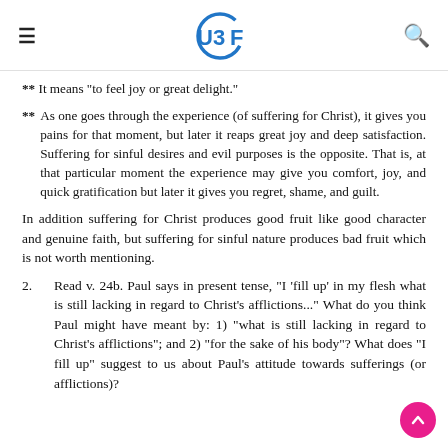UBF
** It means "to feel joy or great delight."
** As one goes through the experience (of suffering for Christ), it gives you pains for that moment, but later it reaps great joy and deep satisfaction. Suffering for sinful desires and evil purposes is the opposite. That is, at that particular moment the experience may give you comfort, joy, and quick gratification but later it gives you regret, shame, and guilt.
In addition suffering for Christ produces good fruit like good character and genuine faith, but suffering for sinful nature produces bad fruit which is not worth mentioning.
2.    Read v. 24b. Paul says in present tense, "I 'fill up' in my flesh what is still lacking in regard to Christ's afflictions..." What do you think Paul might have meant by: 1) "what is still lacking in regard to Christ's afflictions"; and 2) "for the sake of his body"? What does "I fill up" suggest to us about Paul's attitude towards sufferings (or afflictions)?